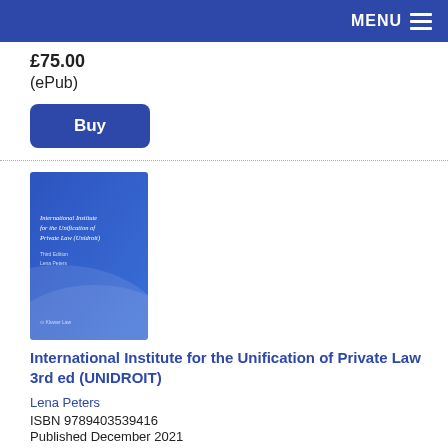MENU
£75.00
(ePub)
Buy
[Figure (illustration): Book cover for International Institute for the Unification of Private Law 3rd ed (UNIDROIT) by Lena Peters, blue cover with wave design, Kluwer Law publisher logo]
International Institute for the Unification of Private Law 3rd ed (UNIDROIT)
Lena Peters
ISBN 9789403539416
Published December 2021
Kluwer Law International
£60.00